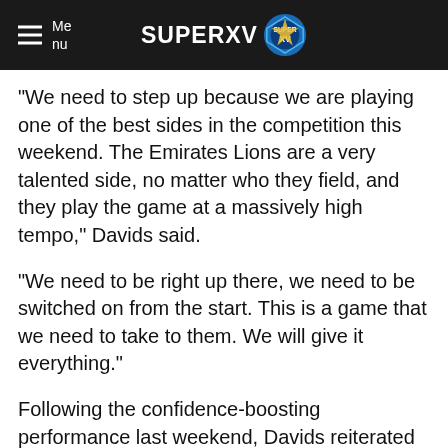Menu | SUPERXV
“We need to step up because we are playing one of the best sides in the competition this weekend. The Emirates Lions are a very talented side, no matter who they field, and they play the game at a massively high tempo,” Davids said.
“We need to be right up there, we need to be switched on from the start. This is a game that we need to take to them. We will give it everything.”
Following the confidence-boosting performance last weekend, Davids reiterated the self-belief in the team.
“There is a lot of self-belief in the team. We did believe from the start that we can compete. We want to be competitive, and we will strive to continuously improve,” he said.